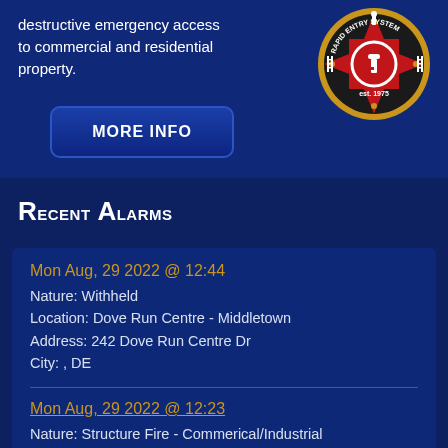destructive emergency access to commercial and residential property.
[Figure (logo): Rapid Entry System fire department badge/logo, est. 1975, red and gold maltese cross with key icon]
MORE INFO
Recent Alarms
Mon Aug, 29 2022 @ 12:44
Nature: Withheld
Location: Dove Run Centre - Middletown
Address: 242 Dove Run Centre Dr
City: , DE
Mon Aug, 29 2022 @ 12:23
Nature: Structure Fire - Commerical/Industrial building
Location: Dove Run Centre - Middletown